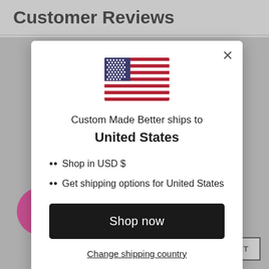Customer Reviews
[Figure (illustration): US flag SVG illustration inside modal dialog]
Custom Made Better ships to United States
Shop in USD $
Get shipping options for United States
Shop now
Change shipping country